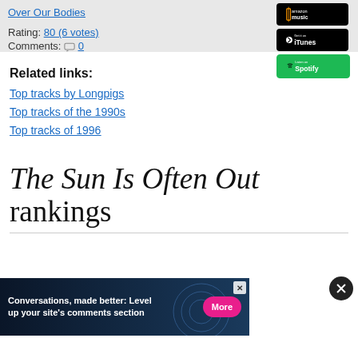Over Our Bodies
Rating: 80 (6 votes)
Comments: 0
[Figure (screenshot): Amazon Music badge (black button)]
[Figure (screenshot): iTunes badge (black button with Apple logo)]
[Figure (screenshot): Spotify badge (green button with Spotify logo)]
Related links:
Top tracks by Longpigs
Top tracks of the 1990s
Top tracks of 1996
The Sun Is Often Out rankings
[Figure (screenshot): Advertisement banner: Conversations, made better: Level up your site's comments section. More button.]